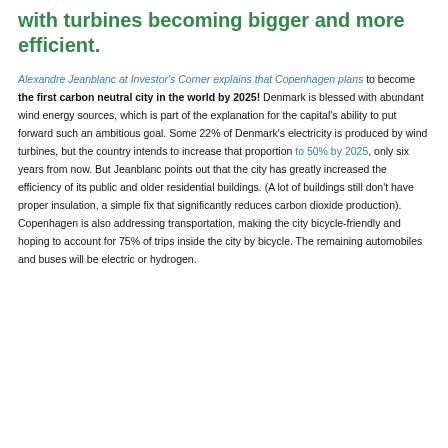with turbines becoming bigger and more efficient.
Alexandre Jeanblanc at Investor's Corner explains that Copenhagen plans to become the first carbon neutral city in the world by 2025! Denmark is blessed with abundant wind energy sources, which is part of the explanation for the capital's ability to put forward such an ambitious goal. Some 22% of Denmark's electricity is produced by wind turbines, but the country intends to increase that proportion to 50% by 2025, only six years from now. But Jeanblanc points out that the city has greatly increased the efficiency of its public and older residential buildings. (A lot of buildings still don't have proper insulation, a simple fix that significantly reduces carbon dioxide production). Copenhagen is also addressing transportation, making the city bicycle-friendly and hoping to account for 75% of trips inside the city by bicycle. The remaining automobiles and buses will be electric or hydrogen.